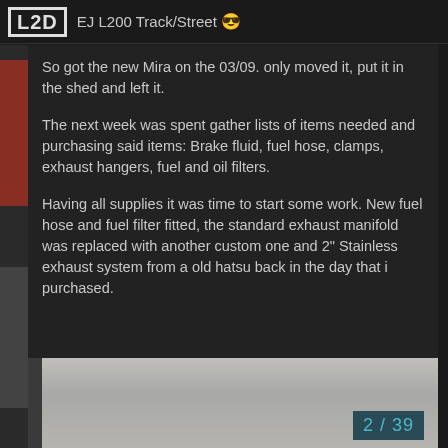L20  EJ L200 Track/Street 😎
So got the new Mira on the 03/09. only moved it, put it in the shed and left it.
The next week was spent gather lists of items needed and purchasing said items: Brake fluid, fuel hose, clamps, exhaust hangers, fuel and oil filters.
Having all supplies it was time to start some work. New fuel hose and fuel filter fitted, the standard exhaust manifold was replaced with another custom one and 2" Stainless exhaust system from a old hatsu back in the day that i purchased.
[Figure (photo): Bottom portion of photo showing what appears to be a light-colored surface or part, with a teal page counter overlay showing 2/39]
2 / 39